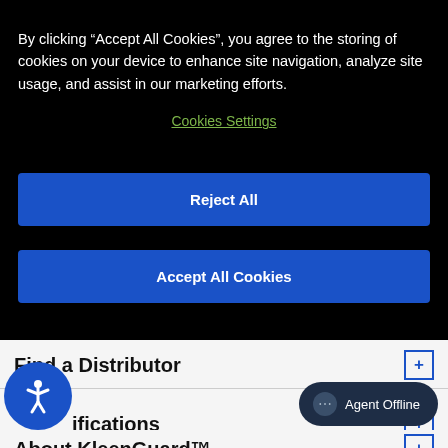By clicking “Accept All Cookies”, you agree to the storing of cookies on your device to enhance site navigation, analyze site usage, and assist in our marketing efforts.
Cookies Settings
Reject All
Accept All Cookies
Find a Distributor
Specifications
About KleenGuard™